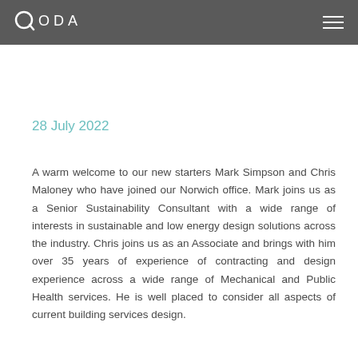QODA
28 July 2022
A warm welcome to our new starters Mark Simpson and Chris Maloney who have joined our Norwich office. Mark joins us as a Senior Sustainability Consultant with a wide range of interests in sustainable and low energy design solutions across the industry. Chris joins us as an Associate and brings with him over 35 years of experience of contracting and design experience across a wide range of Mechanical and Public Health services. He is well placed to consider all aspects of current building services design.